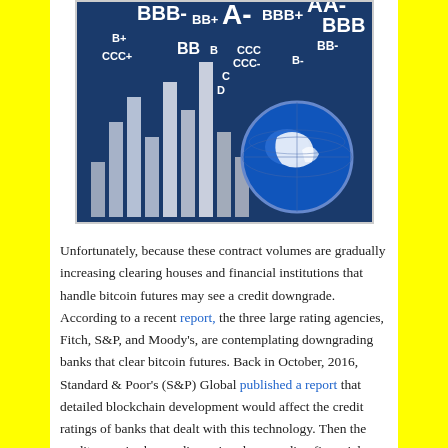[Figure (photo): Credit rating chart image showing bar chart with credit rating labels (BBB-, BB+, A-, BBB+, AA-, BBB, B+, BB, B, CCC, CCC-, C, D, BB-, B-) on a dark blue background with a globe graphic on the right side.]
Unfortunately, because these contract volumes are gradually increasing clearing houses and financial institutions that handle bitcoin futures may see a credit downgrade. According to a recent report, the three large rating agencies, Fitch, S&P, and Moody's, are contemplating downgrading banks that clear bitcoin futures. Back in October, 2016, Standard & Poor's (S&P) Global published a report that detailed blockchain development would affect the credit ratings of banks that dealt with this technology. Then the credit agencies began discussing downgrading financial institutions this past February, if the volatile contract sales started to increase.
Fitch, S&P, and Moody's have collectively stated that...